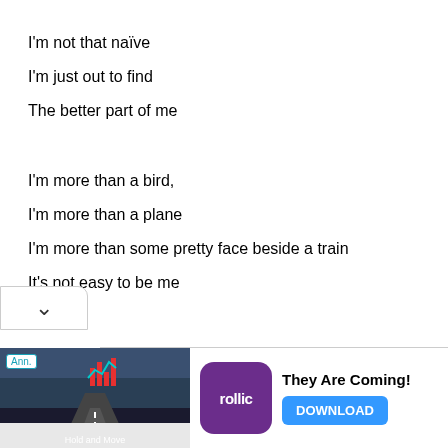I'm not that naïve
I'm just out to find
The better part of me

I'm more than a bird,
I'm more than a plane
I'm more than some pretty face beside a train
It's not easy to be me
[Figure (other): Advertisement banner showing a mobile game 'Hold and Move' with road/winter scene imagery, Rollic purple app icon, 'They Are Coming!' text and a blue DOWNLOAD button. Ann. badge visible.]